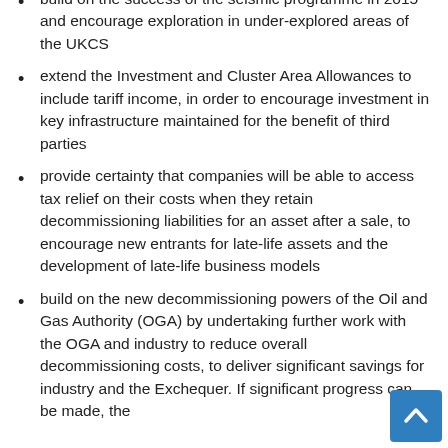build on the success of the seismic programme in 2015 and encourage exploration in under-explored areas of the UKCS
extend the Investment and Cluster Area Allowances to include tariff income, in order to encourage investment in key infrastructure maintained for the benefit of third parties
provide certainty that companies will be able to access tax relief on their costs when they retain decommissioning liabilities for an asset after a sale, to encourage new entrants for late-life assets and the development of late-life business models
build on the new decommissioning powers of the Oil and Gas Authority (OGA) by undertaking further work with the OGA and industry to reduce overall decommissioning costs, to deliver significant savings for industry and the Exchequer. If significant progress can be made, the